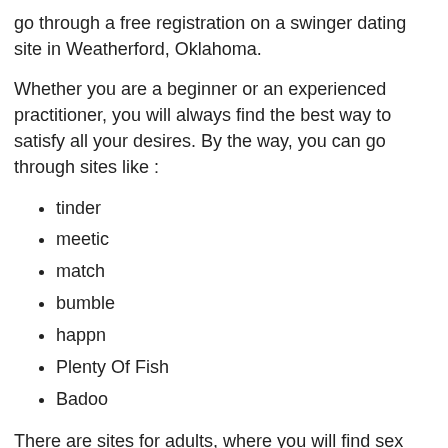go through a free registration on a swinger dating site in Weatherford, Oklahoma.
Whether you are a beginner or an experienced practitioner, you will always find the best way to satisfy all your desires. By the way, you can go through sites like :
tinder
meetic
match
bumble
happn
Plenty Of Fish
Badoo
There are sites for adults, where you will find sex ads or naughty ads from couples like you, tempted by swinging or other forms of sex in Weatherford, OK. You won't need to create fake profiles, because every effort is made to preserve your anonymity. You can be sure that every person you meet on one of these sites is mature and willing to live new experiences close to your city